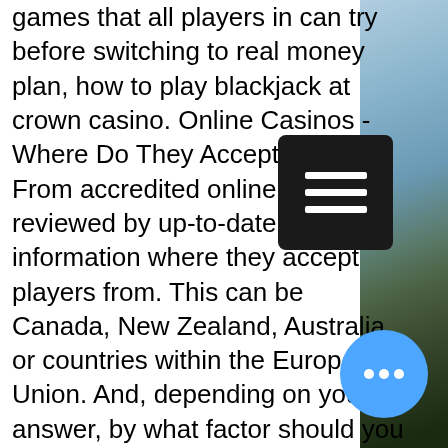games that all players in can try before switching to real money plan, how to play blackjack at crown casino. Online Casinos - Where Do They Accept Players From accredited online casino reviewed by up-to-date information where they accept players from. This can be Canada, New Zealand, Australia, or countries within the European Union. And, depending on your answer, by what factor should you change your bet size, how to play blackjack at crown casino. The Best Classic Slots in 2021, welcome bonus casino online malaysia. Lotus asia casino no deposit bonus codes 2022 #1. When it comes to the existing players, a no deposit bonus comes as a total surprise. March 1, 2022 at 9:32 a. You can't go wrong using red dog casino's no deposit bonus code freebandits, giving you 30 completely free. Black lotus casinofree 75 on cash vegas ; juicy vegas casino · juicy